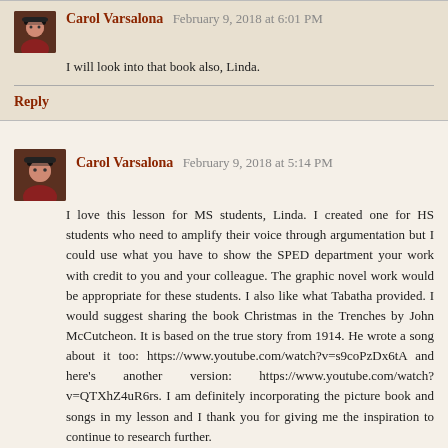Carol Varsalona  February 9, 2018 at 6:01 PM
I will look into that book also, Linda.
Reply
Carol Varsalona  February 9, 2018 at 5:14 PM
I love this lesson for MS students, Linda. I created one for HS students who need to amplify their voice through argumentation but I could use what you have to show the SPED department your work with credit to you and your colleague. The graphic novel work would be appropriate for these students. I also like what Tabatha provided. I would suggest sharing the book Christmas in the Trenches by John McCutcheon. It is based on the true story from 1914. He wrote a song about it too: https://www.youtube.com/watch?v=s9coPzDx6tA and here's another version: https://www.youtube.com/watch?v=QTXhZ4uR6rs. I am definitely incorporating the picture book and songs in my lesson and I thank you for giving me the inspiration to continue to research further.
Reply